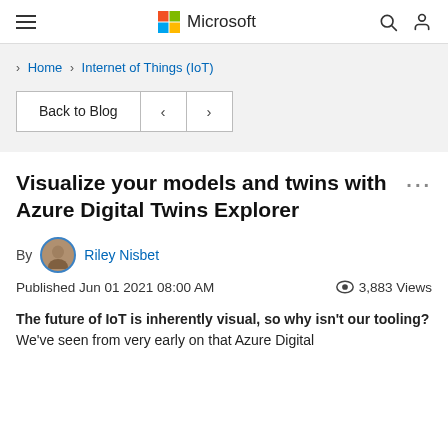Microsoft
Home > Internet of Things (IoT)
Back to Blog < >
Visualize your models and twins with Azure Digital Twins Explorer
By Riley Nisbet
Published Jun 01 2021 08:00 AM   3,883 Views
The future of IoT is inherently visual, so why isn't our tooling? We've seen from very early on that Azure Digital Twins is inherently visual, so why isn't our tooling?